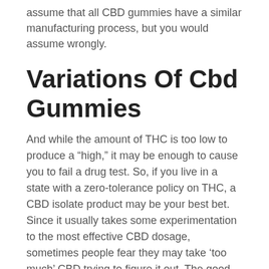assume that all CBD gummies have a similar manufacturing process, but you would assume wrongly.
Variations Of Cbd Gummies
And while the amount of THC is too low to produce a “high,” it may be enough to cause you to fail a drug test. So, if you live in a state with a zero-tolerance policy on THC, a CBD isolate product may be your best bet. Since it usually takes some experimentation to the most effective CBD dosage, sometimes people fear they may take ‘too much’ CBD trying to figure it out. The good news is, there has never been a serious side effect reported from taking ‘too much’ CBD. As a general rule, start with a low dose and gradually increase by .5mg until you start to see the desired effects. According to the World Health Organization,